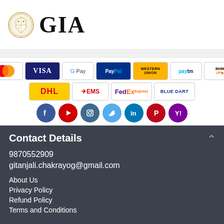[Figure (logo): GIA logo with circular emblem and GIA text in serif font]
[Figure (infographic): Payment method logos: MasterCard, VISA, Google Pay, PayPal, Western Union, Paytm, BHIM UPI]
[Figure (infographic): Shipping logos: DHL, EMS, FedEx Express, Blue Dart]
[Figure (infographic): Social media icons: Facebook, YouTube, Instagram, Twitter, LinkedIn, Pinterest, Yahoo]
Contact Details
9870552909
gitanjali.chakrayog@gmail.com
About Us
Privacy Policy
Refund Policy
Terms and Conditions